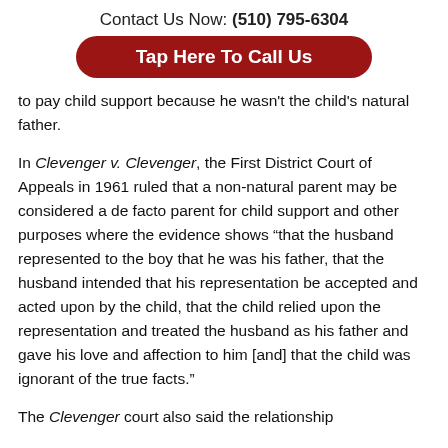Contact Us Now: (510) 795-6304
Tap Here To Call Us
to pay child support because he wasn't the child's natural father.
In Clevenger v. Clevenger, the First District Court of Appeals in 1961 ruled that a non-natural parent may be considered a de facto parent for child support and other purposes where the evidence shows “that the husband represented to the boy that he was his father, that the husband intended that his representation be accepted and acted upon by the child, that the child relied upon the representation and treated the husband as his father and gave his love and affection to him [and] that the child was ignorant of the true facts.”
The Clevenger court also said the relationship